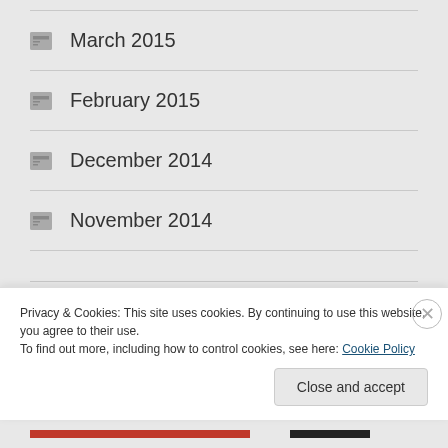March 2015
February 2015
December 2014
November 2014
TAGS ALBANIA Amazon Amerindians Amish Anabaptists anarchists
Anglo-Indians apartheid architecture ARGENTINA art AUSTRIA Bahia
Privacy & Cookies: This site uses cookies. By continuing to use this website, you agree to their use. To find out more, including how to control cookies, see here: Cookie Policy